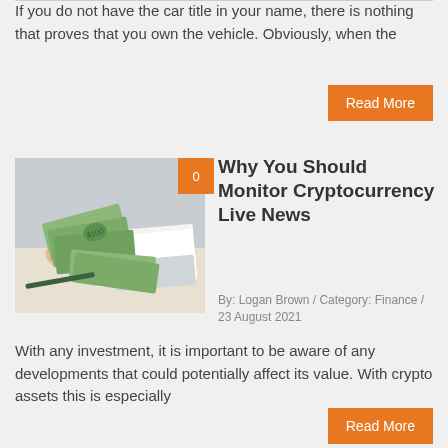If you do not have the car title in your name, there is nothing that proves that you own the vehicle. Obviously, when the
Read More
[Figure (photo): Person holding US dollar bills over a desk with papers and a keyboard]
Why You Should Monitor Cryptocurrency Live News
By: Logan Brown / Category: Finance / 23 August 2021
With any investment, it is important to be aware of any developments that could potentially affect its value. With crypto assets this is especially
Read More